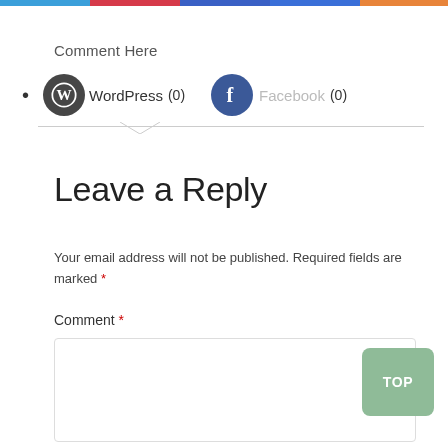[Figure (other): Colored top bar strips: blue, red, blue, blue, orange]
Comment Here
• WordPress (0)   Facebook (0)
Leave a Reply
Your email address will not be published. Required fields are marked *
Comment *